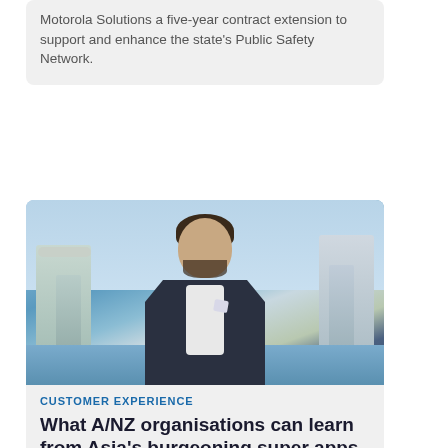Motorola Solutions a five-year contract extension to support and enhance the state's Public Safety Network.
[Figure (photo): Portrait photo of a man in a dark suit jacket with white shirt, smiling, standing outdoors with Singapore skyline (Marina Bay Sands) and water in the background.]
CUSTOMER EXPERIENCE
What A/NZ organisations can learn from Asia's burgeoning super apps push